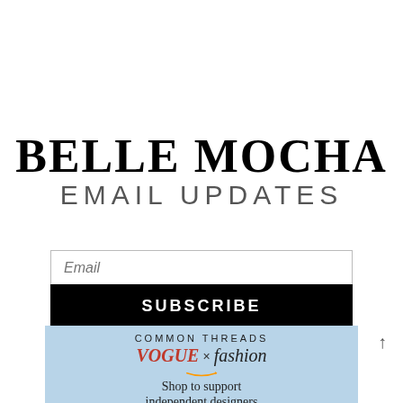BELLE MOCHA EMAIL UPDATES
Email
SUBSCRIBE
[Figure (infographic): Advertisement banner with light blue background showing 'COMMON THREADS', 'VOGUE x fashion' (Vogue in red italic, fashion in black italic), Amazon smile logo, and text 'Shop to support independent designers']